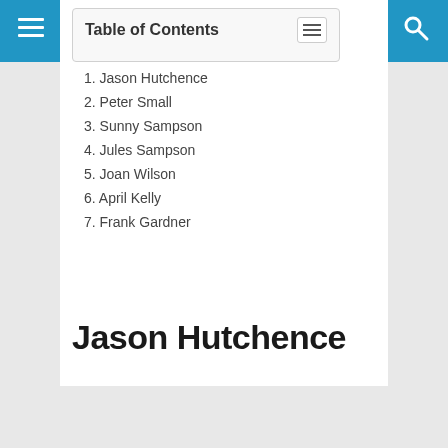RexWeyler
Table of Contents
1. Jason Hutchence
2. Peter Small
3. Sunny Sampson
4. Jules Sampson
5. Joan Wilson
6. April Kelly
7. Frank Gardner
Jason Hutchence